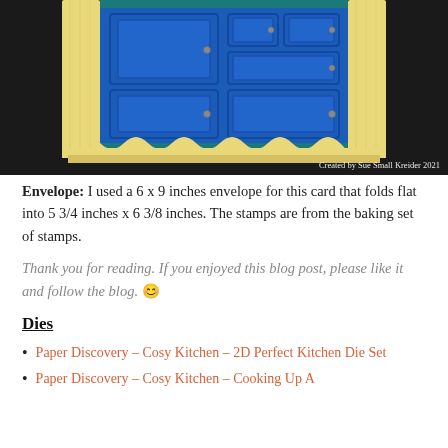[Figure (photo): A decorative paper craft card shaped like a vintage kitchen dresser/hutch with yellow wood grain sides and blue paneled doors with small knob details. Watermark reads 'Created by Sue Small Kreider 2021' in the bottom right corner.]
Envelope: I used a 6 x 9 inches envelope for this card that folds flat into 5 3/4 inches x 6 3/8 inches. The stamps are from the baking set of stamps.
Thank you for reading. If you enjoyed this blog post, please like it and follow the blog. 😊
Dies
Paper Discovery – Cosy Kitchen – 2D Perfect Kitchen Die Set
Paper Discovery – Cosy Kitchen – Cooking Up A